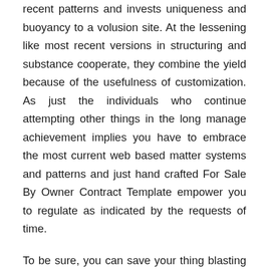recent patterns and invests uniqueness and buoyancy to a volusion site. At the lessening like most recent versions in structuring and substance cooperate, they combine the yield because of the usefulness of customization. As just the individuals who continue attempting other things in the long manage achievement implies you have to embrace the most current web based matter systems and patterns and just hand crafted For Sale By Owner Contract Template empower you to regulate as indicated by the requests of time.
To be sure, you can save your thing blasting until the end of time by tweaking and refreshing the substance of your current Volusion growth subsequent to Volusion For Sale By Owner Contract Template structuring.
It is basic that each web accretion architect or engineer builds up his own confided in strategy for For Sale By Owner Contract Template advancement. In any case, interestingly, the template